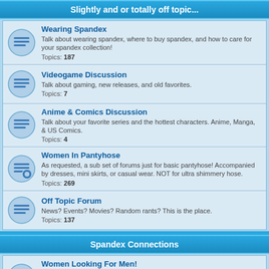Slightly and or totally off topic...
Wearing Spandex
Talk about wearing spandex, where to buy spandex, and how to care for your spandex collection!
Topics: 187
Videogame Discussion
Talk about gaming, new releases, and old favorites.
Topics: 7
Anime & Comics Discussion
Talk about your favorite series and the hottest characters. Anime, Manga, & US Comics.
Topics: 4
Women In Pantyhose
As requested, a sub set of forums just for basic pantyhose! Accompanied by dresses, mini skirts, or casual wear. NOT for ultra shimmery hose.
Topics: 269
Off Topic Forum
News? Events? Movies? Random rants? This is the place.
Topics: 137
Spandex Connections
Women Looking For Men!
Ladies, looking for a guy with a simple interest such as this? Post descriptions of who you are, and what you're looking for here!
Topics: 5